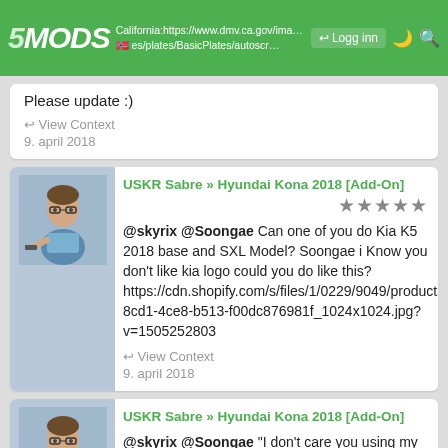5MODS — California:https://www.dmv.ca.gov/imageserver/dmv/images/plates/BasicPlates/autosc… — Logg inn
Please update :)
View Context
9. april 2018
USKR Sabre » Hyundai Kona 2018 [Add-On]
@skyrix @Soongae Can one of you do Kia K5 2018 base and SXL Model? Soongae i Know you don't like kia logo could you do like this? https://cdn.shopify.com/s/files/1/0229/9049/products/Kia_emblem_Main_54392733-8cd1-4ce8-b513-f00dc876981f_1024x1024.jpg?v=1505252803
View Context
9. april 2018
USKR Sabre » Hyundai Kona 2018 [Add-On]
@skyrix @Soongae "I don't care you using my textures" obviously you care Soongae haha you two are both awesome modders. Collaborate on mods...